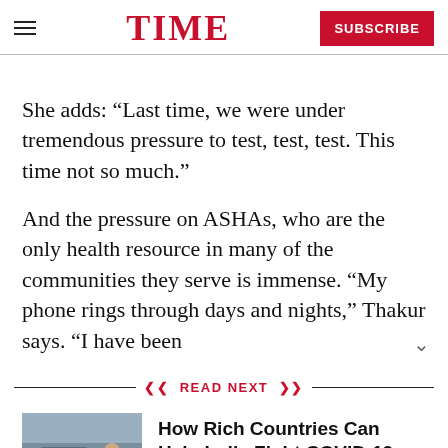TIME — SUBSCRIBE
She adds: “Last time, we were under tremendous pressure to test, test, test. This time not so much.”
And the pressure on ASHAs, who are the only health resource in many of the communities they serve is immense. “My phone rings through days and nights,” Thakur says. “I have been
READ NEXT
[Figure (photo): Photo of people near a car, related to India COVID-19 story]
How Rich Countries Can Help India Fight COVID-19